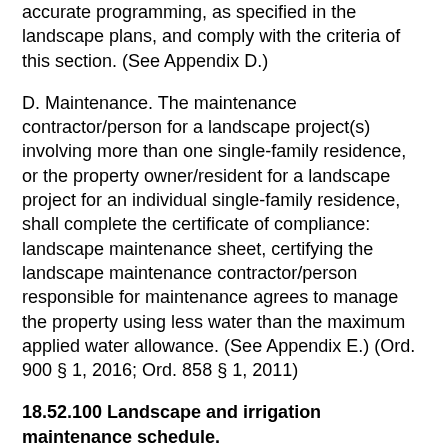accurate programming, as specified in the landscape plans, and comply with the criteria of this section. (See Appendix D.)
D. Maintenance. The maintenance contractor/person for a landscape project(s) involving more than one single-family residence, or the property owner/resident for a landscape project for an individual single-family residence, shall complete the certificate of compliance: landscape maintenance sheet, certifying the landscape maintenance contractor/person responsible for maintenance agrees to manage the property using less water than the maximum applied water allowance. (See Appendix E.) (Ord. 900 § 1, 2016; Ord. 858 § 1, 2011)
18.52.100 Landscape and irrigation maintenance schedule.
Applicant shall develop a landscape maintenance